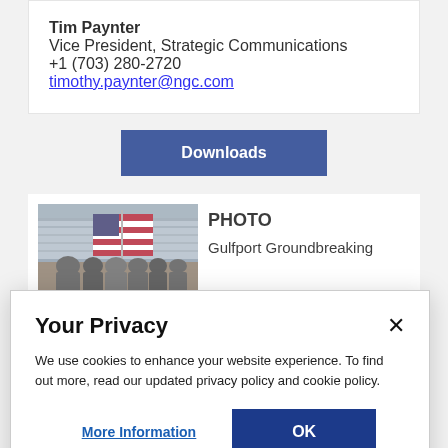Tim Paynter
Vice President, Strategic Communications
+1 (703) 280-2720
timothy.paynter@ngc.com
Downloads
[Figure (photo): Photo thumbnail of Gulfport Groundbreaking ceremony with American flag and people in front of a large building]
PHOTO
Gulfport Groundbreaking
Your Privacy
We use cookies to enhance your website experience. To find out more, read our updated privacy policy and cookie policy.
More Information
OK